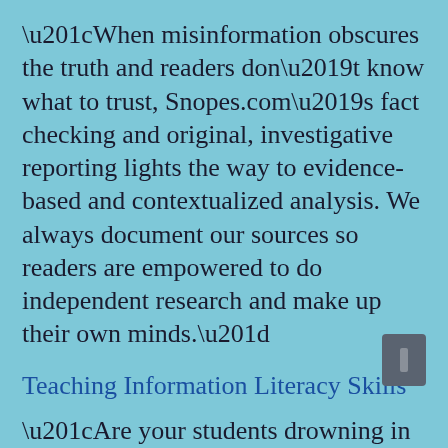“When misinformation obscures the truth and readers don’t know what to trust, Snopes.com’s fact checking and original, investigative reporting lights the way to evidence-based and contextualized analysis. We always document our sources so readers are empowered to do independent research and make up their own minds.”
Teaching Information Literacy Skills
“Are your students drowning in information, misinformation, and downright bunk?...Teaching information literacy skills has never been more important.”